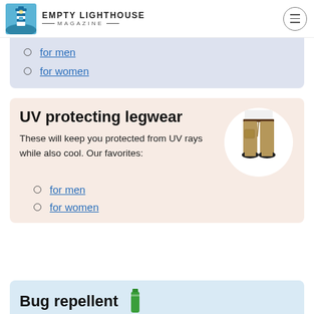EMPTY LIGHTHOUSE MAGAZINE
for men
for women
UV protecting legwear
These will keep you protected from UV rays while also cool. Our favorites:
[Figure (photo): Person wearing khaki convertible pants and dark shoes, shown from waist down, inside a white circle on a peach/pink background]
for men
for women
Bug repellent